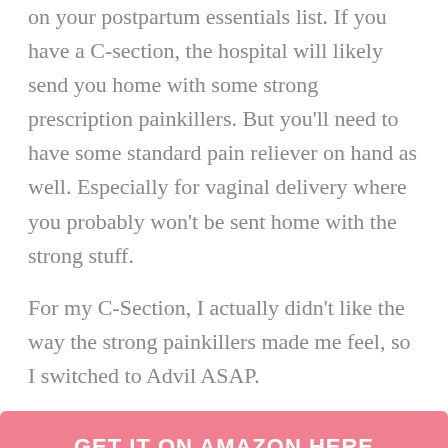on your postpartum essentials list. If you have a C-section, the hospital will likely send you home with some strong prescription painkillers. But you'll need to have some standard pain reliever on hand as well. Especially for vaginal delivery where you probably won't be sent home with the strong stuff.
For my C-Section, I actually didn't like the way the strong painkillers made me feel, so I switched to Advil ASAP.
[Figure (other): Pink button with white text reading 'GET IT ON AMAZON HERE']